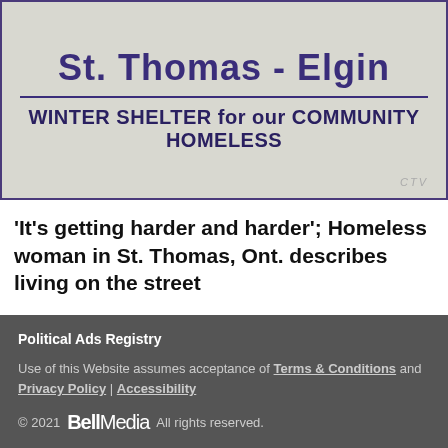[Figure (photo): Sign reading 'St. Thomas - Elgin' and 'WINTER SHELTER for our COMMUNITY HOMELESS' with CTV watermark]
'It's getting harder and harder'; Homeless woman in St. Thomas, Ont. describes living on the street
Follow on
[Figure (illustration): Social media icons: Facebook, Twitter, Instagram]
Political Ads Registry
Use of this Website assumes acceptance of Terms & Conditions and Privacy Policy | Accessibility
© 2021 Bell Media All rights reserved.